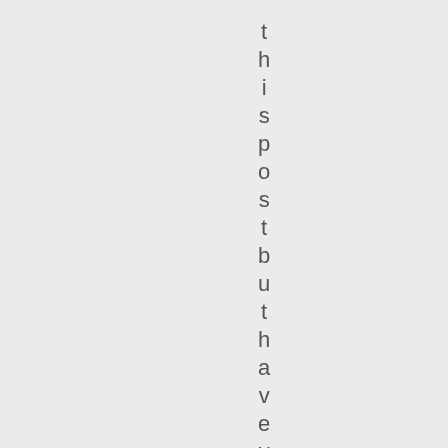t h i s p o s t b u t h a v e y